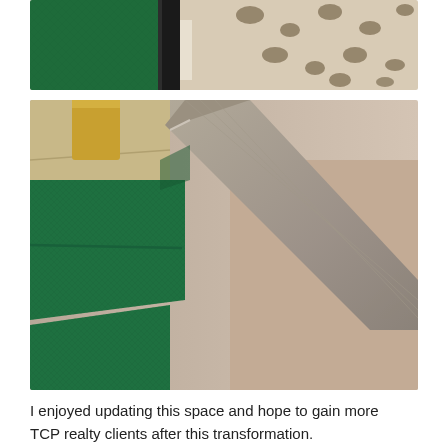[Figure (photo): Close-up photo showing dark green velvet fabric with a black frame edge and leopard/animal print fabric visible in the background.]
[Figure (photo): Close-up photo of a chair with green upholstered seat and back cushions, with grey/weathered wood armrest visible, shot from above at an angle. Hardwood floor and golden/yellow object visible in the background.]
I enjoyed updating this space and hope to gain more TCP realty clients after this transformation.